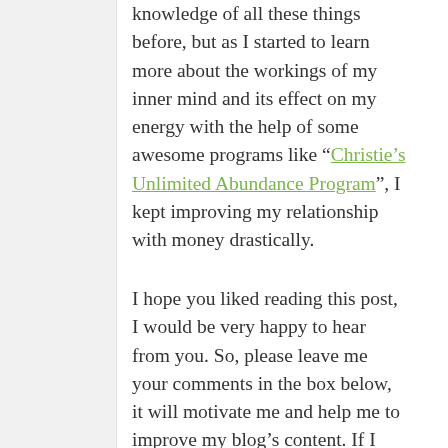knowledge of all these things before, but as I started to learn more about the workings of my inner mind and its effect on my energy with the help of some awesome programs like “Christie’s Unlimited Abundance Program”, I kept improving my relationship with money drastically.
I hope you liked reading this post, I would be very happy to hear from you. So, please leave me your comments in the box below, it will motivate me and help me to improve my blog’s content. If I missed anything important then please do mention it in the comment section.